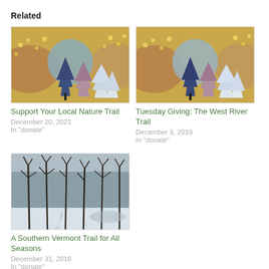Related
[Figure (illustration): Colorful painting of abstract trees with blue, purple and white trees on a yellow/golden background]
Support Your Local Nature Trail
December 20, 2021
In "donate"
[Figure (illustration): Colorful painting of abstract trees with blue, purple and white trees on a golden background, similar to left image]
Tuesday Giving: The West River Trail
December 3, 2019
In "donate"
[Figure (photo): Winter forest scene with bare trees on a snowy trail]
A Southern Vermont Trail for All Seasons
December 31, 2016
In "donate"